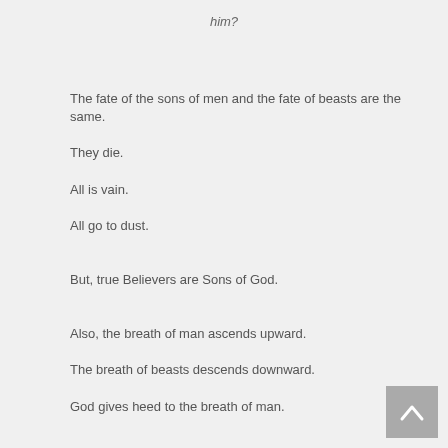him?
The fate of the sons of men and the fate of beasts are the same.
They die.
All is vain.
All go to dust.
But, true Believers are Sons of God.
Also, the breath of man ascends upward.
The breath of beasts descends downward.
God gives heed to the breath of man.
There are actually two final words.
Everything dies.
It is better for man to be happy in his activities…